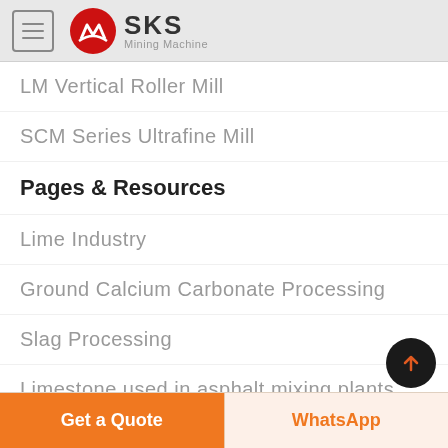[Figure (logo): SKS Mining Machine logo with red circle emblem and hamburger menu icon]
LM Vertical Roller Mill
SCM Series Ultrafine Mill
Pages & Resources
Lime Industry
Ground Calcium Carbonate Processing
Slag Processing
Limestone used in asphalt mixing plants
[Figure (illustration): Customer service person figure above free chat button]
Get a Quote | WhatsApp